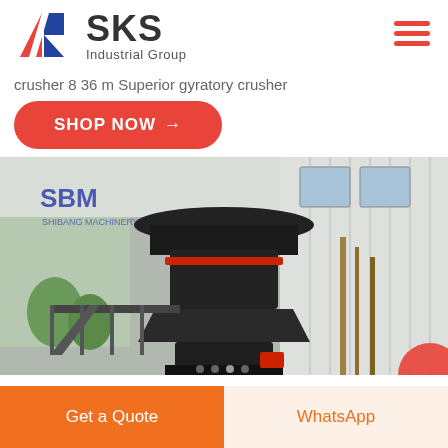[Figure (logo): SKS Industrial Group logo with red and blue K letter mark and bold SKS text]
crusher 8 36 m Superior gyratory crusher
SHOP NOW →
[Figure (photo): Large industrial gyratory crusher machine inside a factory building with SBM Shibang Machinery branding on the wall]
Get a Quote
WhatsApp